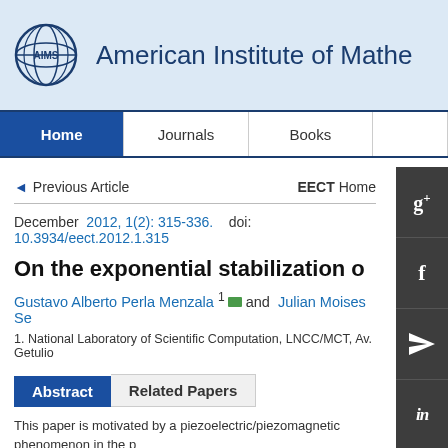[Figure (logo): AIMS globe logo with AIMS text]
American Institute of Mathe
Home | Journals | Books
◄ Previous Article    EECT Home
December  2012, 1(2): 315-336.   doi: 10.3934/eect.2012.1.315
On the exponential stabilization o
Gustavo Alberto Perla Menzala 1, [email] and  Julian Moises Se
1. National Laboratory of Scientific Computation, LNCC/MCT, Av. Getulio
Abstract   Related Papers
This paper is motivated by a piezoelectric/piezomagnetic phenomenon in the pr   to radiation and generalized linear equations. We observe the semicolons also t